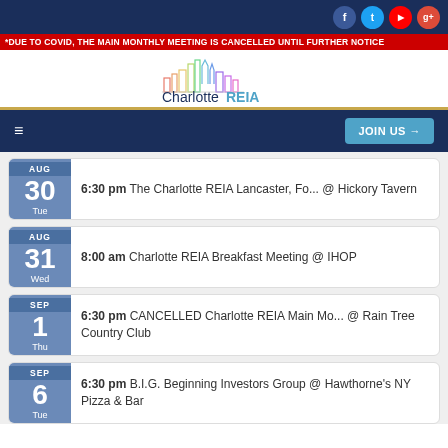*DUE TO COVID, THE MAIN MONTHLY MEETING IS CANCELLED UNTIL FURTHER NOTICE
[Figure (logo): CharlotteREIA logo with stylized city skyline above text]
6:30 pm The Charlotte REIA Lancaster, Fo... @ Hickory Tavern — AUG 30 Tue
8:00 am Charlotte REIA Breakfast Meeting @ IHOP — AUG 31 Wed
6:30 pm CANCELLED Charlotte REIA Main Mo... @ Rain Tree Country Club — SEP 1 Thu
6:30 pm B.I.G. Beginning Investors Group @ Hawthorne's NY Pizza & Bar — SEP 6 Tue